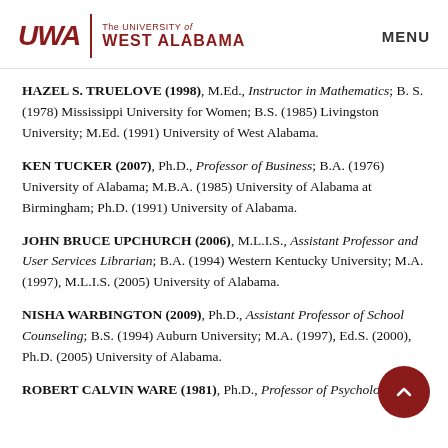UWA | The University of West Alabama | MENU
HAZEL S. TRUELOVE (1998), M.Ed., Instructor in Mathematics; B. S. (1978) Mississippi University for Women; B.S. (1985) Livingston University; M.Ed. (1991) University of West Alabama.
KEN TUCKER (2007), Ph.D., Professor of Business; B.A. (1976) University of Alabama; M.B.A. (1985) University of Alabama at Birmingham; Ph.D. (1991) University of Alabama.
JOHN BRUCE UPCHURCH (2006), M.L.I.S., Assistant Professor and User Services Librarian; B.A. (1994) Western Kentucky University; M.A. (1997), M.L.I.S. (2005) University of Alabama.
NISHA WARBINGTON (2009), Ph.D., Assistant Professor of School Counseling; B.S. (1994) Auburn University; M.A. (1997), Ed.S. (2000), Ph.D. (2005) University of Alabama.
ROBERT CALVIN WARE (1981), Ph.D., Professor of Psychology; B.A.